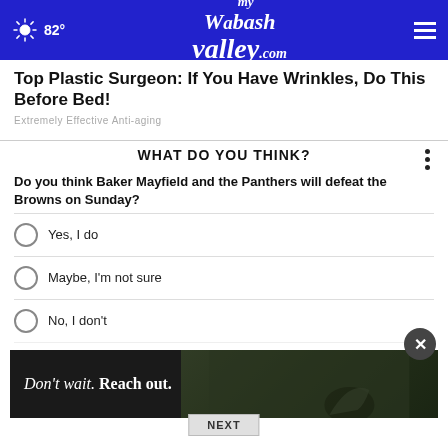82° myWabashValley.com
Top Plastic Surgeon: If You Have Wrinkles, Do This Before Bed!
Extremely Effective Anti-aging
WHAT DO YOU THINK?
Do you think Baker Mayfield and the Panthers will defeat the Browns on Sunday?
Yes, I do
Maybe, I'm not sure
No, I don't
Other / No opinion
[Figure (photo): Bottom advertisement banner: dark background with person sitting, text reads Don't wait. Reach out.]
NEXT